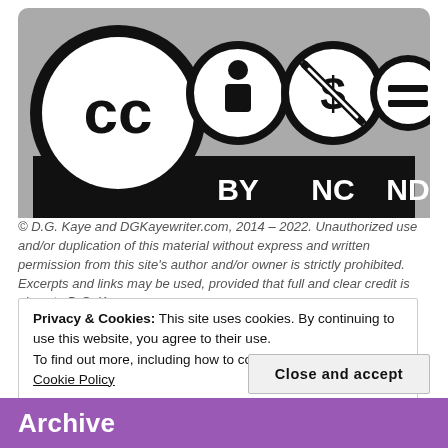[Figure (logo): Creative Commons BY-NC-ND license badge. Shows CC logo (large circle), person/BY icon, dollar-sign-crossed/NC icon, equals/ND icon, with 'BY NC ND' text on black bar below.]
© D.G. Kaye and DGKayewriter.com, 2014 – 2022. Unauthorized use and/or duplication of this material without express and written permission from this site's author and/or owner is strictly prohibited. Excerpts and links may be used, provided that full and clear credit is given to D.G. Kaye
Privacy & Cookies: This site uses cookies. By continuing to use this website, you agree to their use.
To find out more, including how to control cookies, see here: Cookie Policy
Close and accept
Archive